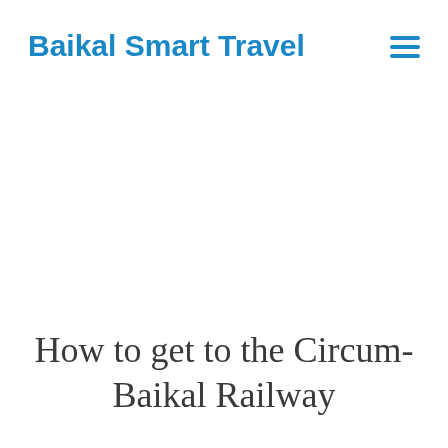Baikal Smart Travel
How to get to the Circum-Baikal Railway